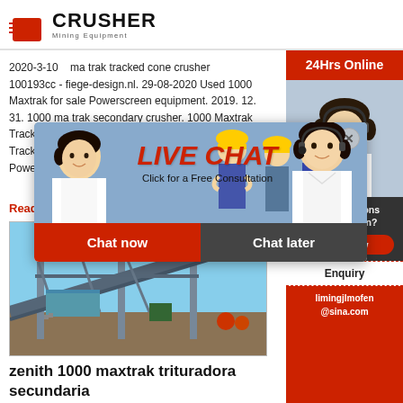[Figure (logo): Crusher Mining Equipment logo with red shopping bag icon and bold CRUSHER text]
2020-3-10   ma trak tracked cone crusher 100193cc - fiege-design.nl. 29-08-2020 Used 1000 Maxtrak for sale Powerscreen equipment. 2019. 12. 31. 1000 ma trak secondary crusher. 1000 Maxtrak Tracked Cone Crusher 100193cc Denisoo Axtrak Tracked Cone Crush... Faldigroupit... The Powerscr... track mobile...
Read More
[Figure (photo): Industrial conveyor/crusher machine at mining site]
zenith 1000 maxtrak trituradora secundaria
[Figure (infographic): Live Chat overlay popup with workers in hard hats background, LIVE CHAT heading, Click for a Free Consultation text, Chat now and Chat later buttons, female agent photo on right]
[Figure (infographic): Right sidebar: 24Hrs Online header, female customer service agent photo, Need questions & suggestion? text, Chat Now button, Enquiry link, limingjlmofen@sina.com email]